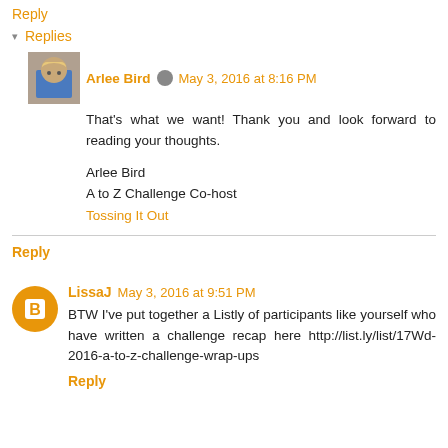Reply
▾ Replies
Arlee Bird · May 3, 2016 at 8:16 PM
That's what we want! Thank you and look forward to reading your thoughts.

Arlee Bird
A to Z Challenge Co-host
Tossing It Out
Reply
LissaJ May 3, 2016 at 9:51 PM
BTW I've put together a Listly of participants like yourself who have written a challenge recap here http://list.ly/list/17Wd-2016-a-to-z-challenge-wrap-ups
Reply